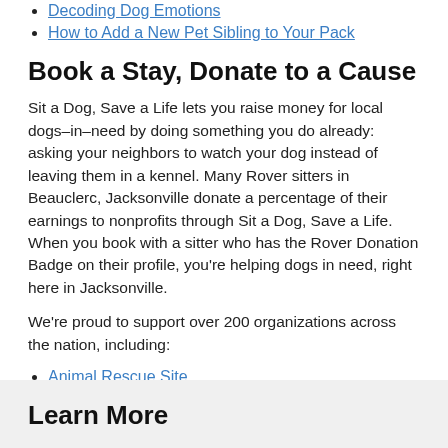Decoding Dog Emotions
How to Add a New Pet Sibling to Your Pack
Book a Stay, Donate to a Cause
Sit a Dog, Save a Life lets you raise money for local dogs–in–need by doing something you do already: asking your neighbors to watch your dog instead of leaving them in a kennel. Many Rover sitters in Beauclerc, Jacksonville donate a percentage of their earnings to nonprofits through Sit a Dog, Save a Life. When you book with a sitter who has the Rover Donation Badge on their profile, you're helping dogs in need, right here in Jacksonville.
We're proud to support over 200 organizations across the nation, including:
Animal Rescue Site
Lucky Dog Animal Rescue
K9's for Warriors
Learn More